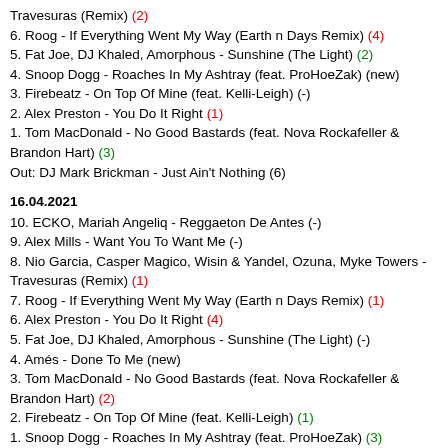Travesuras (Remix) (2)
6. Roog - If Everything Went My Way (Earth n Days Remix) (4)
5. Fat Joe, DJ Khaled, Amorphous - Sunshine (The Light) (2)
4. Snoop Dogg - Roaches In My Ashtray (feat. ProHoeZak) (new)
3. Firebeatz - On Top Of Mine (feat. Kelli-Leigh) (-)
2. Alex Preston - You Do It Right (1)
1. Tom MacDonald - No Good Bastards (feat. Nova Rockafeller & Brandon Hart) (3)
Out: DJ Mark Brickman - Just Ain't Nothing (6)
16.04.2021
10. ECKO, Mariah Angeliq - Reggaeton De Antes (-)
9. Alex Mills - Want You To Want Me (-)
8. Nio Garcia, Casper Magico, Wisin & Yandel, Ozuna, Myke Towers - Travesuras (Remix) (1)
7. Roog - If Everything Went My Way (Earth n Days Remix) (1)
6. Alex Preston - You Do It Right (4)
5. Fat Joe, DJ Khaled, Amorphous - Sunshine (The Light) (-)
4. Amés - Done To Me (new)
3. Tom MacDonald - No Good Bastards (feat. Nova Rockafeller & Brandon Hart) (2)
2. Firebeatz - On Top Of Mine (feat. Kelli-Leigh) (1)
1. Snoop Dogg - Roaches In My Ashtray (feat. ProHoeZak) (3)
Out: Jencarlos & Pitbull - Cosita Linda (8)
21.04.2021
10. Fat Joe, DJ Khaled, Amorphous - Sunshine (The Light) (5)
9. ECKO, Mariah Angeliq - Reggaeton De Antes (1)
8. Alex Mills - Want You To Want Me (1)
7. Nio Garcia, Casper Magico, Wisin & Yandel, Ozuna, Myke Towers - Travesuras (Remix) (1)